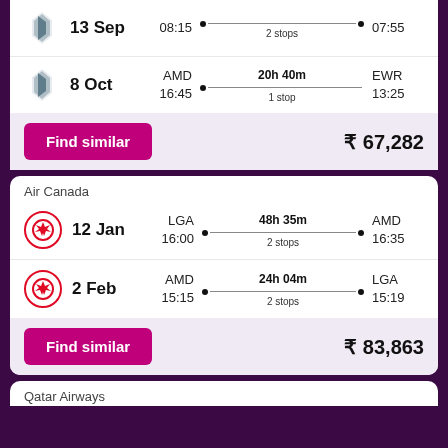13 Sep | 08:15 | 2 stops | 07:55
8 Oct | AMD 16:45 | 20h 40m 1 stop | EWR 13:25
Find similar | ₹ 67,282
Air Canada
12 Jan | LGA 16:00 | 48h 35m 2 stops | AMD 16:35
2 Feb | AMD 15:15 | 24h 04m 2 stops | LGA 15:19
Find similar | ₹ 83,863
Qatar Airways